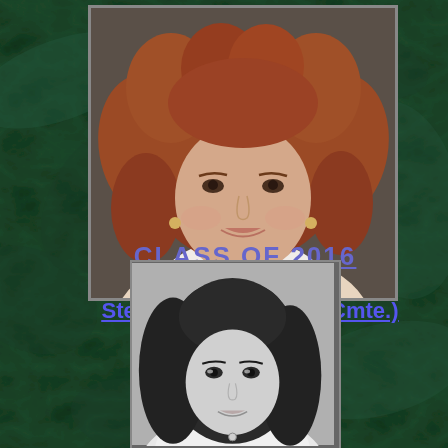[Figure (photo): Color portrait photo of a woman with curly red hair, smiling, wearing earrings — Stefanie Powers]
Stefanie Powers (Vet. Cmte.)
CLASS OF 2016
[Figure (photo): Black and white portrait photo of a young woman with long dark hair — likely a younger Stefanie Powers]